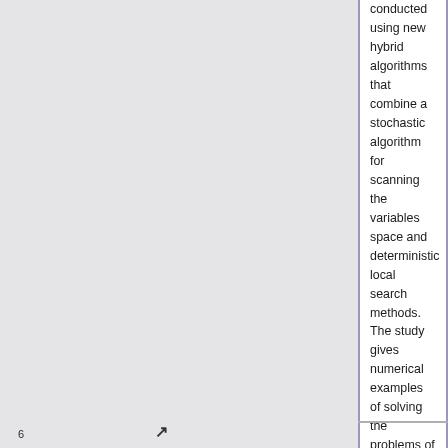conducted using new hybrid algorithms that combine a stochastic algorithm for scanning the variables space and deterministic local search methods. The study gives numerical examples of solving the problems of global nondifferentiable minimization of the maximum systems eigenvalues.
Sulimov V., Shkapov P., Goncharov D. Use of hybrid algorithms in extremum eigenproblems of Lagrangian dynamical systems. Mathematical Modeling and Computational Methods, 2016, №4 (12), pp. 84-102
6